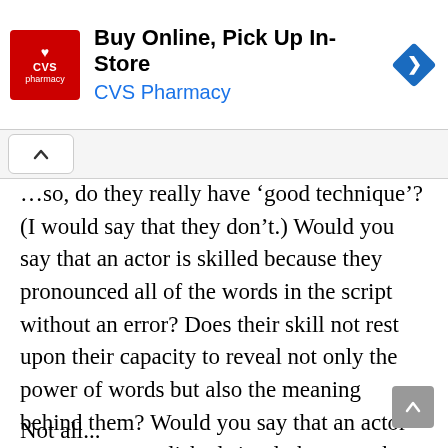[Figure (screenshot): CVS Pharmacy advertisement banner: red CVS pharmacy logo on left, bold text 'Buy Online, Pick Up In-Store' and blue text 'CVS Pharmacy', blue diamond navigation arrow on right]
…so, do they really have 'good technique'? (I would say that they don't.) Would you say that an actor is skilled because they pronounced all of the words in the script without an error? Does their skill not rest upon their capacity to reveal not only the power of words but also the meaning behind them? Would you say that an actor was not accomplished simply because they fumbled a line or dropped a word in the midst of an impassioned performance? Probably not — and yet we have this attitude with musicians.
Not all...